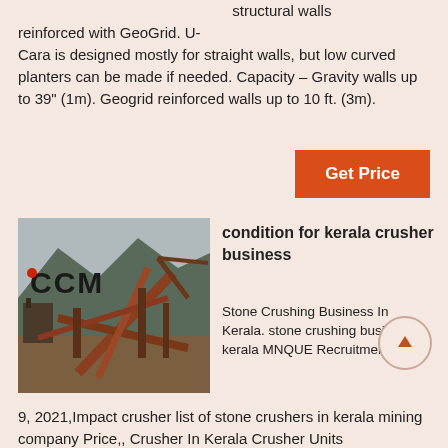structural walls reinforced with GeoGrid. U-Cara is designed mostly for straight walls, but low curved planters can be made if needed. Capacity – Gravity walls up to 39" (1m). Geogrid reinforced walls up to 10 ft. (3m).
Get Price
[Figure (photo): CCM branded industrial stone crusher facility with large machinery, conveyor belts, and mountains in background]
condition for kerala crusher business
Stone Crushing Business In Kerala. stone crushing business in kerala MNQUE Recruitment Sep 9, 2021,Impact crusher list of stone crushers in kerala mining company Price,, Crusher In Kerala Crusher Units